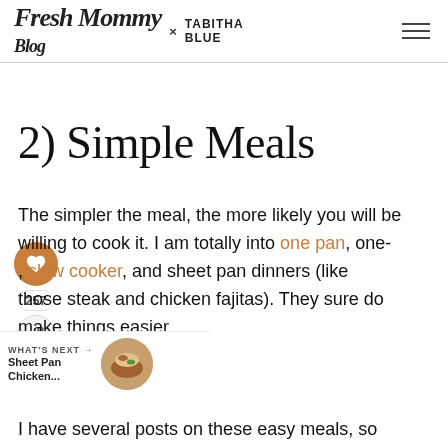Fresh Mommy Blog × TABITHA BLUE
2) Simple Meals
The simpler the meal, the more likely you will be willing to cook it. I am totally into one pan, one-, slow cooker, and sheet pan dinners (like those steak and chicken fajitas). They sure do make things easier.
I have several posts on these easy meals, so